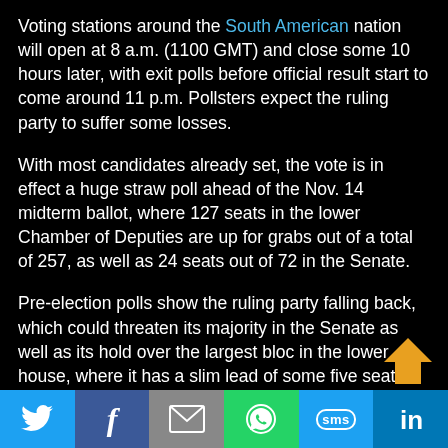Voting stations around the South American nation will open at 8 a.m. (1100 GMT) and close some 10 hours later, with exit polls before official result start to come around 11 p.m. Pollsters expect the ruling party to suffer some losses.
With most candidates already set, the vote is in effect a huge straw poll ahead of the Nov. 14 midterm ballot, where 127 seats in the lower Chamber of Deputies are up for grabs out of a total of 257, as well as 24 seats out of 72 in the Senate.
Pre-election polls show the ruling party falling back, which could threaten its majority in the Senate as well as its hold over the largest bloc in the lower house, where it has a slim lead of some five seats over the main opposition party
[Figure (infographic): Social sharing toolbar with Twitter, Facebook, Email, WhatsApp, SMS, and LinkedIn icons]